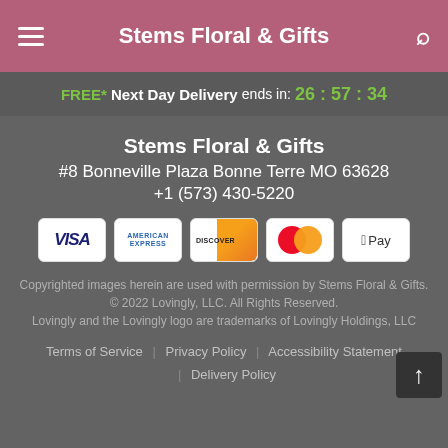Stems Floral & Gifts
FREE* Next Day Delivery ends in: 26:57:34
Stems Floral & Gifts
#8 Bonneville Plaza Bonne Terre MO 63628
+1 (573) 430-5220
[Figure (infographic): Payment method icons: Visa, American Express, Discover, Mastercard, Apple Pay]
Copyrighted images herein are used with permission by Stems Floral & Gifts.
© 2022 Lovingly, LLC. All Rights Reserved.
Lovingly and the Lovingly logo are trademarks of Lovingly Holdings, LLC
Terms of Service | Privacy Policy | Accessibility Statement | Delivery Policy